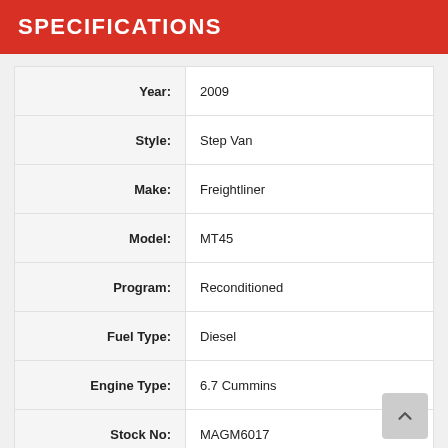SPECIFICATIONS
| Label | Value |
| --- | --- |
| Year: | 2009 |
| Style: | Step Van |
| Make: | Freightliner |
| Model: | MT45 |
| Program: | Reconditioned |
| Fuel Type: | Diesel |
| Engine Type: | 6.7 Cummins |
| Stock No: | MAGM6017 |